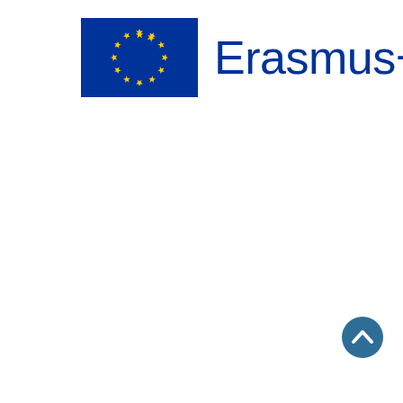[Figure (logo): Erasmus+ logo with EU flag (blue rectangle with circle of 12 yellow stars) on the left and 'Erasmus+' text in dark blue on the right]
[Figure (other): A teal/dark-blue circular button with an upward-pointing chevron arrow, located in the bottom-right area of the page]